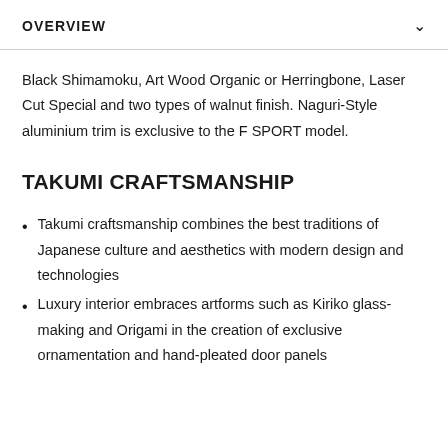OVERVIEW
Black Shimamoku, Art Wood Organic or Herringbone, Laser Cut Special and two types of walnut finish. Naguri-Style aluminium trim is exclusive to the F SPORT model.
TAKUMI CRAFTSMANSHIP
Takumi craftsmanship combines the best traditions of Japanese culture and aesthetics with modern design and technologies
Luxury interior embraces artforms such as Kiriko glass-making and Origami in the creation of exclusive ornamentation and hand-pleated door panels